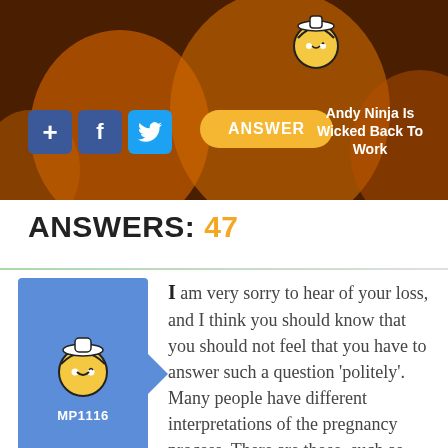[Figure (screenshot): Website header banner with dark brown background and orange balloons. Contains social media buttons (plus, Facebook, Twitter), an ANSWER button, a cartoon ninja mascot avatar, and text 'Andy Ninja Is Wicked Back To Work'.]
ANSWERS: 47
[Figure (illustration): User answer card with blue background panel showing cartoon ninja mascot avatar and username MP1116, with arrow notch pointing right.]
I am very sorry to hear of your loss, and I think you should know that you should not feel that you have to answer such a question ‘politely’. Many people have different interpretations of the pregnancy process. There are those, such as myself, who feel that life begins at conception. There are others